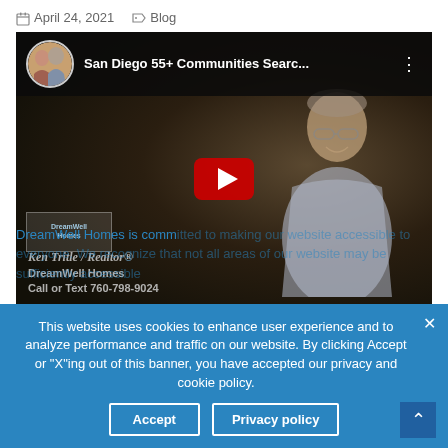April 24, 2021  Blog
[Figure (screenshot): YouTube video thumbnail showing a man sitting at a desk. Title bar reads 'San Diego 55+ Communities Searc...' with a circular avatar of a man and woman. A red YouTube play button is visible in the center. Lower left shows 'Ken Tritle / Realtor® DreamWell Homes Call or Text 760-798-9024' text overlay.]
DreamWell Homes is committed to making our website accessible to everyone. We recognize that not all areas of our website may be sufficiently accessible
This website uses cookies to enhance user experience and to analyze performance and traffic on our website. By clicking Accept or "X"ing out of this banner, you have accepted our privacy and cookie policy.